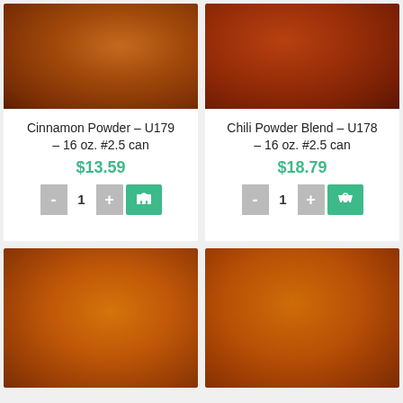[Figure (photo): Close-up photo of cinnamon powder, brownish-red texture]
Cinnamon Powder – U179 – 16 oz. #2.5 can
$13.59
[Figure (photo): Close-up photo of chili powder blend, dark reddish-brown texture]
Chili Powder Blend – U178 – 16 oz. #2.5 can
$18.79
[Figure (photo): Close-up photo of spice powder, orange-red texture]
[Figure (photo): Close-up photo of spice powder, orange-red texture]